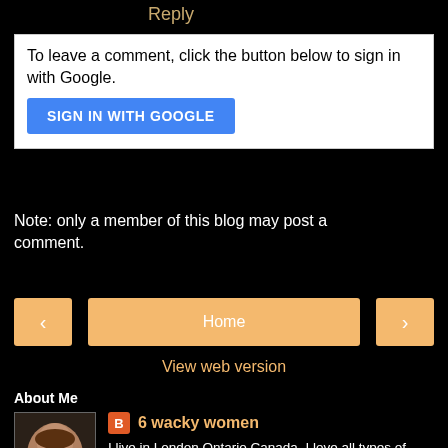Reply
To leave a comment, click the button below to sign in with Google.
SIGN IN WITH GOOGLE
Note: only a member of this blog may post a comment.
< Home >
View web version
About Me
[Figure (photo): Profile photo of a woman with short hair and glasses]
6 wacky women
I live in London Ontario Canada. I love all types of crafting! This blog will be primarily about rubberstamping but it may also contain other types of crafts too! I would love to hear your comments about my creations and I